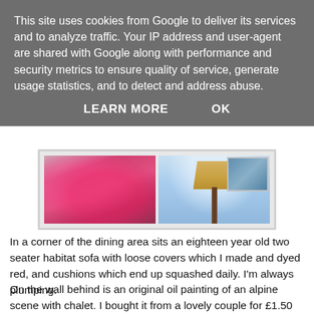This site uses cookies from Google to deliver its services and to analyze traffic. Your IP address and user-agent are shared with Google along with performance and security metrics to ensure quality of service, generate usage statistics, and to detect and address abuse.
LEARN MORE   OK
[Figure (photo): Two side-by-side photographs in a light frame. Left photo shows a red/pink upholstered sofa with cushions in a dining area. Right photo shows a floor lamp with a beige shade against a light blue wall, with a small framed painting visible in the corner.]
In a corner of the dining area sits an eighteen year old two seater habitat sofa with loose covers which I made and dyed red, and cushions which end up squashed daily. I'm always plumping.
On the wall behind is an original oil painting of an alpine scene with chalet. I bought it from a lovely couple for £1.50 at the car boot. I wanted to give them more, but they were desperate to get rid of it.